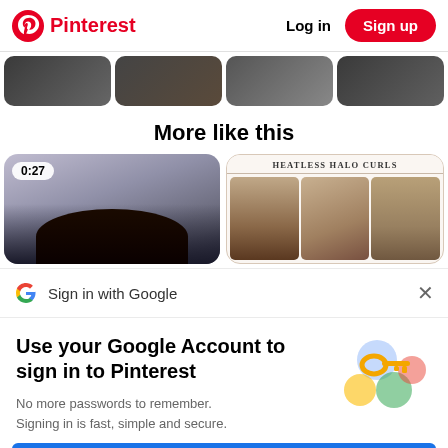Pinterest   Log in   Sign up
[Figure (photo): Row of four circular/rounded thumbnail images, partially cropped, showing dark content]
More like this
[Figure (photo): Two content cards side by side: left card shows a 0:27 video with dark hair subject; right card shows 'HEATLESS HALO CURLS' header with three hair styling images]
Sign in with Google
Use your Google Account to sign in to Pinterest
No more passwords to remember. Signing in is fast, simple and secure.
[Figure (illustration): Google key illustration with colorful circles and a golden key]
Continue